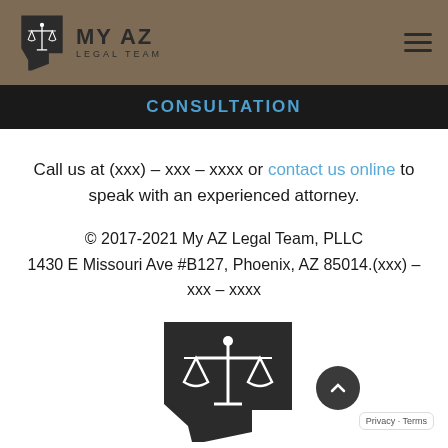[Figure (logo): My AZ Legal Team logo with scales of justice icon and Arizona state outline shape in dark brown, text reads MY AZ LEGAL TEAM]
CONSULTATION
Call us at (xxx) – xxx – xxxx or contact us online to speak with an experienced attorney.
© 2017-2021 My AZ Legal Team, PLLC 1430 E Missouri Ave #B127, Phoenix, AZ 85014.(xxx) – xxx – xxxx
[Figure (logo): My AZ Legal Team logo mark — Arizona state outline in dark brown with scales of justice icon in white]